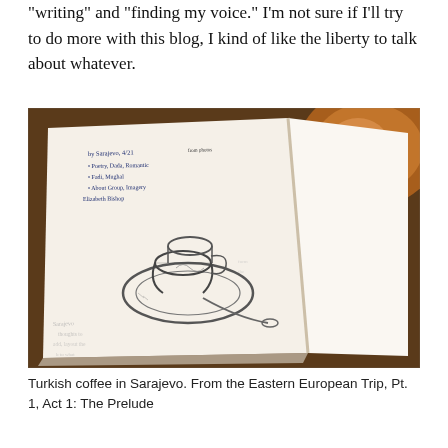"writing" and "finding my voice." I'm not sure if I'll try to do more with this blog, I kind of like the liberty to talk about whatever.
[Figure (photo): A photo of an open sketchbook/journal on a wooden table. The left page shows handwritten notes in blue ink and a detailed pencil sketch of a Turkish coffee cup on a saucer with a spoon. To the right, a copper tray is partially visible. The handwritten notes list items including recognizable words like 'Sarajevo', 'Poetry', 'Romantic', 'Mughal', 'imagery', 'Elizabeth Bishop'.]
Turkish coffee in Sarajevo. From the Eastern European Trip, Pt. 1, Act 1: The Prelude